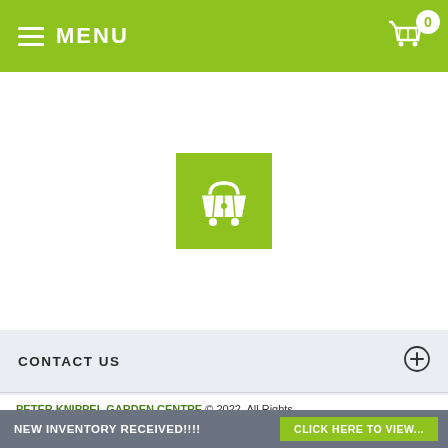MENU
[Figure (logo): Shopping basket icon on green square background, centered on white section]
CONTACT US
NEWSLETTER SIGNUP
QUICK LINKS
THE KNIPPEL DIFFERENCE
PETER KNIPPEL GARDEN CENTRE © 2022. All Rights
NEW INVENTORY RECEIVED!!!! CLICK HERE TO VIEW...